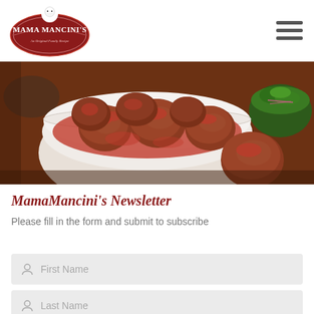MamaMancini's logo and navigation header
[Figure (photo): Bowl of meatballs in red tomato sauce on a wooden table, with a green salad bowl visible in the background]
MamaMancini's Newsletter
Please fill in the form and submit to subscribe
First Name
Last Name